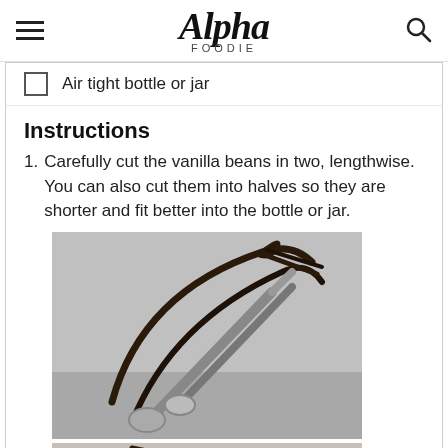Alpha FOODIE
Air tight bottle or jar
Instructions
1. Carefully cut the vanilla beans in two, lengthwise. You can also cut them into halves so they are shorter and fit better into the bottle or jar.
[Figure (photo): Hands cutting vanilla beans lengthwise with scissors, showing the dark vanilla pods and scissors on a grey background.]